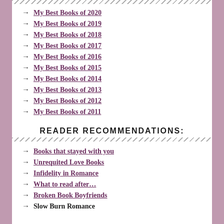→ My Best Books of 2020
→ My Best Books of 2019
→ My Best Books of 2018
→ My Best Books of 2017
→ My Best Books of 2016
→ My Best Books of 2015
→ My Best Books of 2014
→ My Best Books of 2013
→ My Best Books of 2012
→ My Best Books of 2011
READER RECOMMENDATIONS:
→ Books that stayed with you
→ Unrequited Love Books
→ Infidelity in Romance
→ What to read after…
→ Broken Book Boyfriends
→ Slow Burn Romance